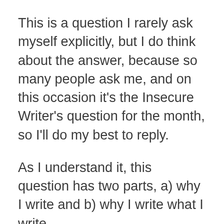This is a question I rarely ask myself explicitly, but I do think about the answer, because so many people ask me, and on this occasion it’s the Insecure Writer’s question for the month, so I’ll do my best to reply.
As I understand it, this question has two parts, a) why I write and b) why I write what I write.
a) Why do I write?
I write because I can’t not write, the same as I can’t not think, or feel, or walk, or talk.